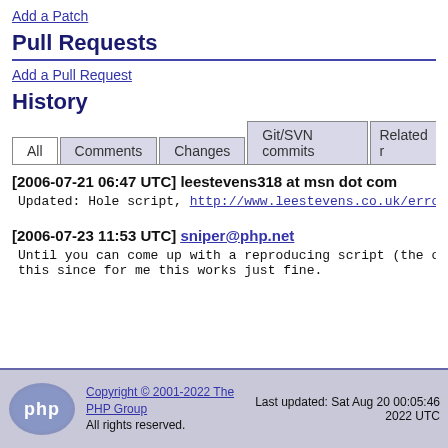Add a Patch
Pull Requests
Add a Pull Request
History
All | Comments | Changes | Git/SVN commits | Related r
[2006-07-21 06:47 UTC] leestevens318 at msn dot com
Updated: Hole script, http://www.leestevens.co.uk/error
[2006-07-23 11:53 UTC] sniper@php.net
Until you can come up with a reproducing script (the one
this since for me this works just fine.
Copyright © 2001-2022 The PHP Group
All rights reserved.
Last updated: Sat Aug 20 00:05:46 2022 UTC